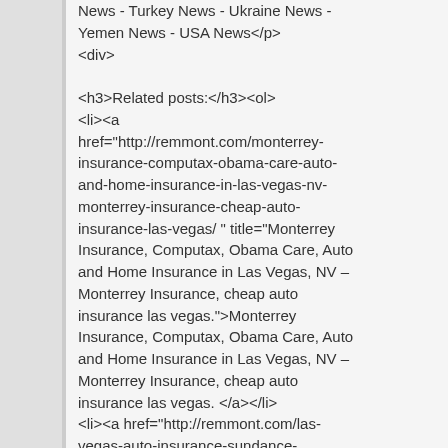News - Turkey News - Ukraine News - Yemen News - USA News</p>
<div>

<h3>Related posts:</h3><ol>
<li><a href="http://remmont.com/monterrey-insurance-computax-obama-care-auto-and-home-insurance-in-las-vegas-nv-monterrey-insurance-cheap-auto-insurance-las-vegas/ " title="Monterrey Insurance, Computax, Obama Care, Auto and Home Insurance in Las Vegas, NV – Monterrey Insurance, cheap auto insurance las vegas.">Monterrey Insurance, Computax, Obama Care, Auto and Home Insurance in Las Vegas, NV – Monterrey Insurance, cheap auto insurance las vegas. </a></li>
<li><a href="http://remmont.com/las-vegas-auto-insurance-sundance-insurance-group-in-las-vegas-nevada-las-vegas-auto-insurance/ " title="Las Vegas Auto Insurance, Sundance Insurance Group in Las Vegas, Nevada, las vegas